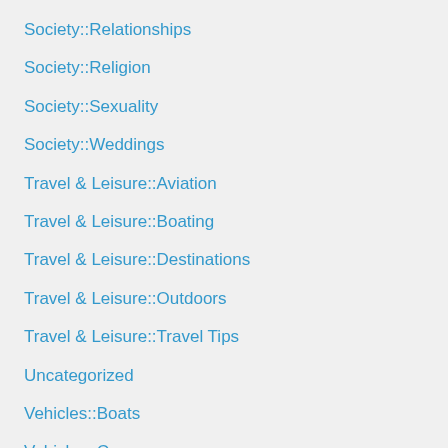Society::Relationships
Society::Religion
Society::Sexuality
Society::Weddings
Travel & Leisure::Aviation
Travel & Leisure::Boating
Travel & Leisure::Destinations
Travel & Leisure::Outdoors
Travel & Leisure::Travel Tips
Uncategorized
Vehicles::Boats
Vehicles::Cars
web design